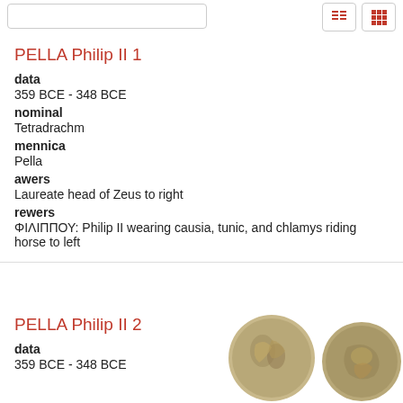PELLA Philip II 1
data
359 BCE - 348 BCE
nominal
Tetradrachm
mennica
Pella
awers
Laureate head of Zeus to right
rewers
ΦΙΛΙΠΠΟΥ: Philip II wearing causia, tunic, and chlamys riding horse to left
PELLA Philip II 2
data
359 BCE - 348 BCE
[Figure (photo): Two ancient silver coins showing obverse of PELLA Philip II 2 coinage]